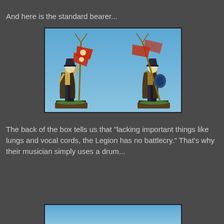And here is the standard bearer...
[Figure (photo): Two views (front and back) of a painted fantasy miniature figure — a skeleton standard bearer holding a forked pole with red flags decorated with skull motifs and runic symbols, standing on a brown base with green ground texture, photographed against a blue background.]
The back of the box tells us that "lacking important things like lungs and vocal cords, the Legion has no battlecry." That's why their musician simply uses a drum...
[Figure (photo): Partial view of another miniature figure photograph, showing only the top blue background portion.]